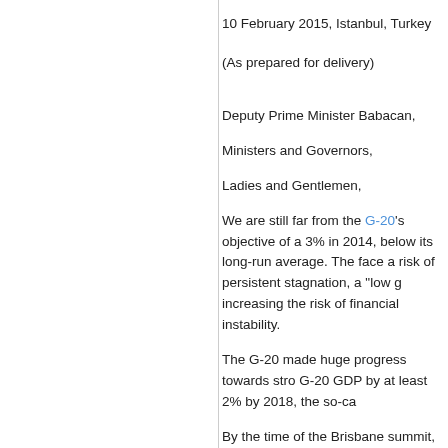10 February 2015, Istanbul, Turkey
(As prepared for delivery)
Deputy Prime Minister Babacan,
Ministers and Governors,
Ladies and Gentlemen,
We are still far from the G-20's objective of a... 3% in 2014, below its long-run average. The... face a risk of persistent stagnation, a "low g... increasing the risk of financial instability.
The G-20 made huge progress towards stro... G-20 GDP by at least 2% by 2018, the so-ca...
By the time of the Brisbane summit, your na... commitments. These measures were asses...
However, hard work is needed to implement... ongoing unfavorable trends, we may need a...
In this context, the OECD very much welcon...
First, I am glad that the Turkish Presidency...